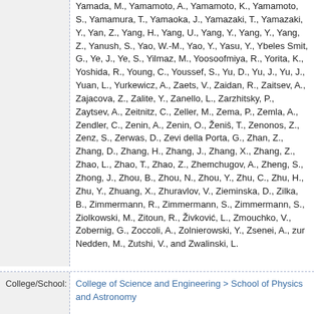Yamada, M., Yamamoto, A., Yamamoto, K., Yamamoto, S., Yamamura, T., Yamaoka, J., Yamazaki, T., Yamazaki, Y., Yan, Z., Yang, H., Yang, U., Yang, Y., Yang, Y., Yang, Z., Yanush, S., Yao, W.-M., Yao, Y., Yasu, Y., Ybeles Smit, G., Ye, J., Ye, S., Yilmaz, M., Yoosoofmiya, R., Yorita, K., Yoshida, R., Young, C., Youssef, S., Yu, D., Yu, J., Yu, J., Yuan, L., Yurkewicz, A., Zaets, V., Zaidan, R., Zaitsev, A., Zajacova, Z., Zalite, Y., Zanello, L., Zarzhitsky, P., Zaytsev, A., Zeitnitz, C., Zeller, M., Zema, P., Zemla, A., Zendler, C., Zenin, A., Zenin, O., Ženiš, T., Zenonos, Z., Zenz, S., Zerwas, D., Zevi della Porta, G., Zhan, Z., Zhang, D., Zhang, H., Zhang, J., Zhang, X., Zhang, Z., Zhao, L., Zhao, T., Zhao, Z., Zhemchugov, A., Zheng, S., Zhong, J., Zhou, B., Zhou, N., Zhou, Y., Zhu, C., Zhu, H., Zhu, Y., Zhuang, X., Zhuravlov, V., Zieminska, D., Zilka, B., Zimmermann, R., Zimmermann, S., Zimmermann, S., Ziolkowski, M., Zitoun, R., Živković, L., Zmouchko, V., Zobernig, G., Zoccoli, A., Zolnierowski, Y., Zsenei, A., zur Nedden, M., Zutshi, V., and Zwalinski, L.
College/School: College of Science and Engineering > School of Physics and Astronomy